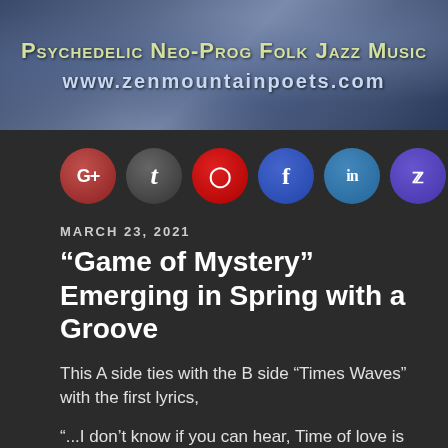[Figure (illustration): Banner image with dark blue/purple toned background showing text 'Psychedelic Neo-Prog Folk Jazz Music' and 'www.zenmountainpoets.com']
[Figure (infographic): Row of social media share buttons: Google+, Tumblr, Pinterest, Facebook, LinkedIn, Twitter, Email]
MARCH 23, 2021
“Game of Mystery” Emerging in Spring with a Groove
This A side ties with the B side “Times Waves” with the first lyrics,
“...I don’t know if you can hear, Time of love is getting near